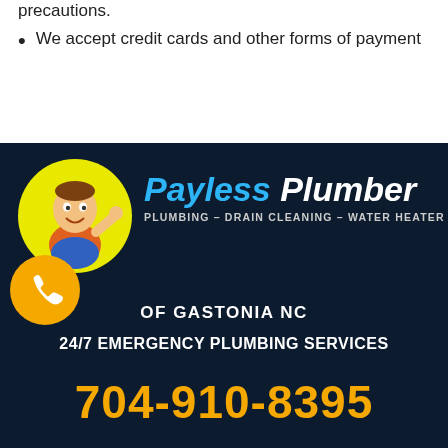precautions.
We accept credit cards and other forms of payment
[Figure (logo): Payless Plumber of Gastonia NC advertisement banner on dark navy background. Features a cartoon plumber mascot in a yellow circle, blue and white italic brand name 'Payless Plumber', subtitle 'PLUMBING – DRAIN CLEANING – WATER HEATER', an orange phone icon circle, text 'OF GASTONIA NC', '24/7 EMERGENCY PLUMBING SERVICES', and phone number '704-910-8395' in large orange bold text.]